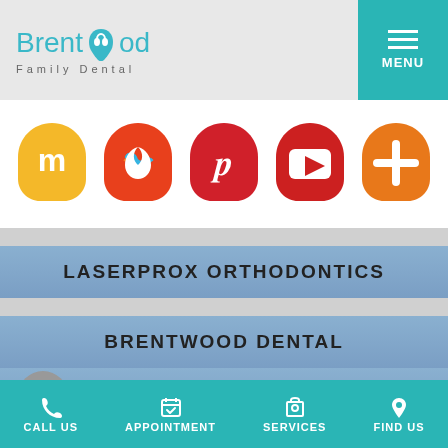[Figure (logo): Brentwood Family Dental logo with tooth icon]
[Figure (infographic): Row of 5 social media icon buttons: Mastodon (yellow), Linktree (red-orange), Pinterest (red), YouTube (red), Google+ (orange)]
LASERPROX ORTHODONTICS
BRENTWOOD DENTAL
DENTAL EDUCATIONAL VIDEOS
CALL US   APPOINTMENT   SERVICES   FIND US